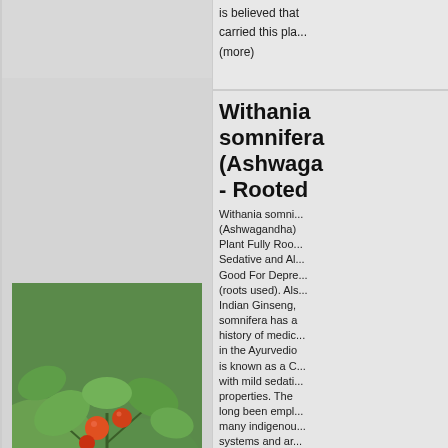is believed that... carried this pla... (more)
Withania somnifera (Ashwagandha) - Rooted
[Figure (photo): Close-up photo of Withania somnifera (Ashwagandha) plant showing red/orange berries and green leaves]
Withania somnifera (Ashwagandha) Plant Fully Rooted Sedative and Al... Good For Depre... (roots used). Als... Indian Ginseng, somnifera has a history of medic... in the Ayurvedi... is known as a C... with mild sedati... properties. The long been empl... many indigenou... systems and ar... considered part... important for m... enhancement. N... seedlings- 6" - 1... Category: Annu... ...(more)
Gynura b... (Okinawa... Spinach) Rooted